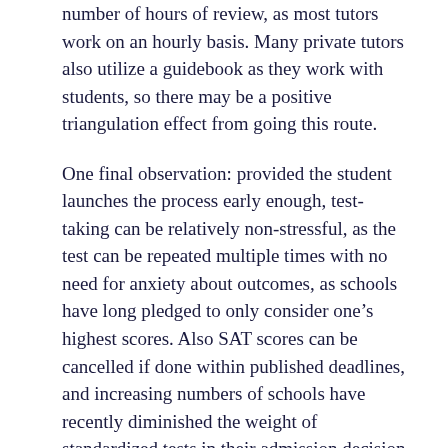number of hours of review, as most tutors work on an hourly basis. Many private tutors also utilize a guidebook as they work with students, so there may be a positive triangulation effect from going this route.
One final observation: provided the student launches the process early enough, test-taking can be relatively non-stressful, as the test can be repeated multiple times with no need for anxiety about outcomes, as schools have long pledged to only consider one’s highest scores. Also SAT scores can be cancelled if done within published deadlines, and increasing numbers of schools have recently diminished the weight of standardized tests in their admission decision process. Happy studying, my fellow test-takers!
Lisa Ransdell is a college faculty member, former high